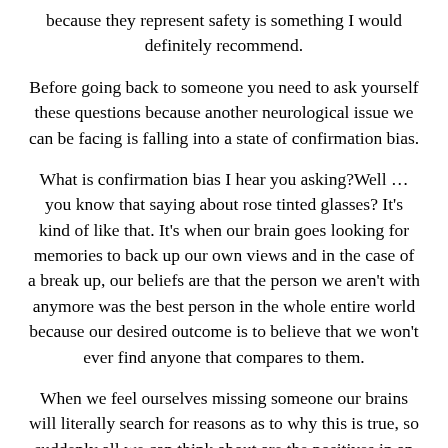because they represent safety is something I would definitely recommend.
Before going back to someone you need to ask yourself these questions because another neurological issue we can be facing is falling into a state of confirmation bias.
What is confirmation bias I hear you asking?Well … you know that saying about rose tinted glasses? It's kind of like that. It's when our brain goes looking for memories to back up our own views and in the case of a break up, our beliefs are that the person we aren't with anymore was the best person in the whole entire world because our desired outcome is to believe that we won't ever find anyone that compares to them.
When we feel ourselves missing someone our brains will literally search for reasons as to why this is true, so suddenly all we can think about are the positives in an ex just so our brains can back itself up for missing them.
So when the need to regress tricks your neurological